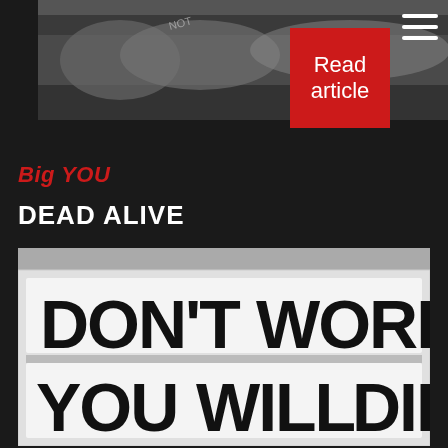[Figure (photo): Black and white photo of hands with text written on fingers, partially visible, dark background]
Read article
Big YOU
DEAD ALIVE
[Figure (photo): Black and white photo of a lightbox sign reading DON'T WORRY YOU WILL DIE]